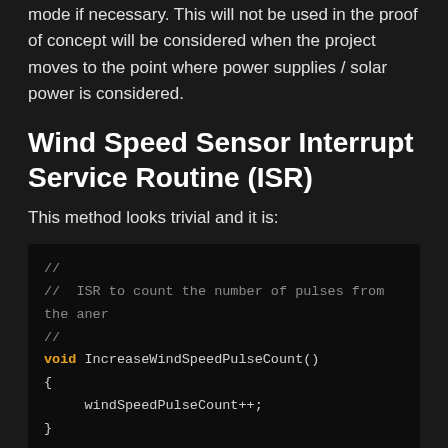mode if necessary. This will not be used in the proof of concept will be considered when the project moves to the point where power supplies / solar power is considered.
Wind Speed Sensor Interrupt Service Routine (ISR)
This method looks trivial and it is:
[Figure (screenshot): Code block showing C++ ISR function: // // ISR to count the number of pulses from the aner // void IncreaseWindSpeedPulseCount() { windSpeedPulseCount++; }]
The non-trivial thing to remember about this code is that the method changes a global variable. The <i>volatile</i> keyword used in the variable definition is necessary to stop the compiler from optimising the global variable as this can have side effects.